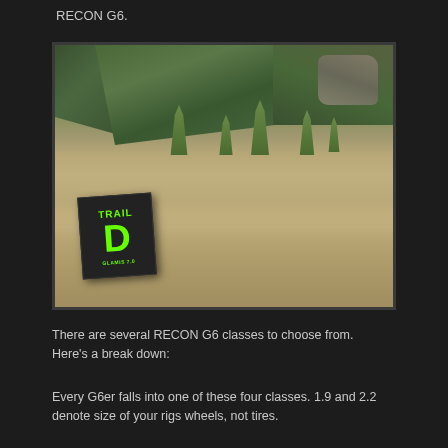RECON G6.
[Figure (photo): Outdoor trail scene showing a black sign with green bold text reading TRAIL D, set on a dirt hillside with green grass tufts and trees in the background.]
There are several RECON G6 classes to choose from. Here’s a break down:
Every G6er falls into one of these four classes. 1.9 and 2.2 denote size of your rigs wheels, not tires.